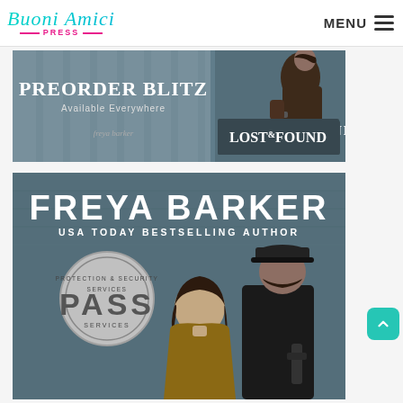Buoni Amici Press — MENU
[Figure (illustration): Preorder Blitz banner for 'Lost & Found' by Freya Barker. Blue/gray background with text 'PREORDER BLITZ - Available Everywhere - LOST&FOUND' and a woman holding a gun on the right side.]
[Figure (illustration): Book cover for 'PASS' by Freya Barker. Shows 'FREYA BARKER / USA TODAY BESTSELLING AUTHOR' at top, a silver badge reading 'PROTECTION & SECURITY SERVICES - PASS - SERVICES', and two people (a woman in brown sweater and a man in black cap and jacket) in the foreground.]